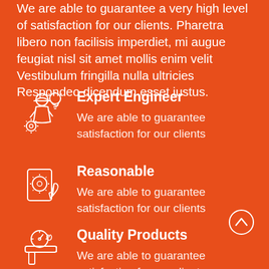We are able to guarantee a very high level of satisfaction for our clients. Pharetra libero non facilisis imperdiet, mi augue feugiat nisl sit amet mollis enim velit Vestibulum fringilla nulla ultricies Respondeo dicendum esset iustus.
[Figure (illustration): White outline icon of engineer with helmet and lightbulb/gear]
Expert Engineer
We are able to guarantee satisfaction for our clients
[Figure (illustration): White outline icon of gear/mechanical settings with hand]
Reasonable
We are able to guarantee satisfaction for our clients
[Figure (illustration): White outline icon of pipe/plumbing gauge system]
Quality Products
We are able to guarantee satisfaction for our clients